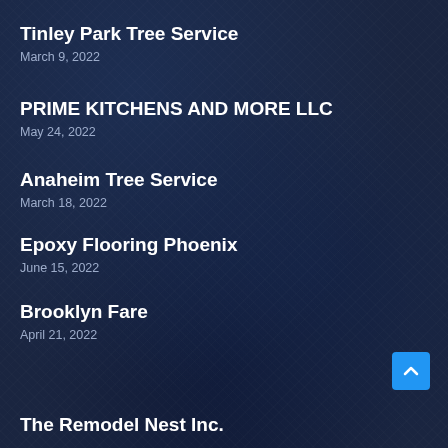Tinley Park Tree Service
March 9, 2022
PRIME KITCHENS AND MORE LLC
May 24, 2022
Anaheim Tree Service
March 18, 2022
Epoxy Flooring Phoenix
June 15, 2022
Brooklyn Fare
April 21, 2022
The Remodel Nest Inc.